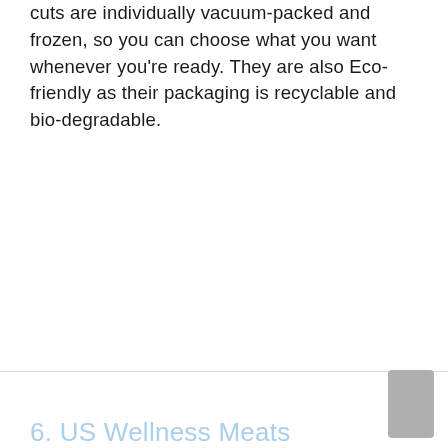cuts are individually vacuum-packed and frozen, so you can choose what you want whenever you're ready. They are also Eco-friendly as their packaging is recyclable and bio-degradable.
6. US Wellness Meats